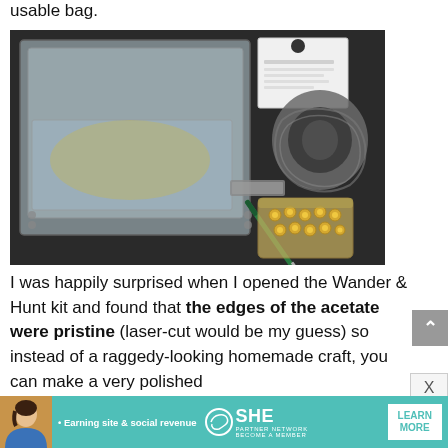usable bag.
[Figure (photo): Flat lay photo on dark background showing: a large clear/transparent acetate sheet partially assembled as a bag, a small white card/instruction sheet, a gray woven handle/strap, a green screwdriver tool, a small clear bag with gold metal hardware pieces (eyelets or rivets), and a small rectangular metal piece.]
I was happily surprised when I opened the Wander & Hunt kit and found that the edges of the acetate were pristine (laser-cut would be my guess) so instead of a raggedy-looking homemade craft, you can make a very polished
[Figure (advertisement): Teal/turquoise ad banner for SHE Media Partner Network. Shows a woman's photo on left, bullet text 'Earning site & social revenue', SHE Media logo with circular icon, PARTNER NETWORK and BECOME A MEMBER text, and a white LEARN MORE button on the right.]